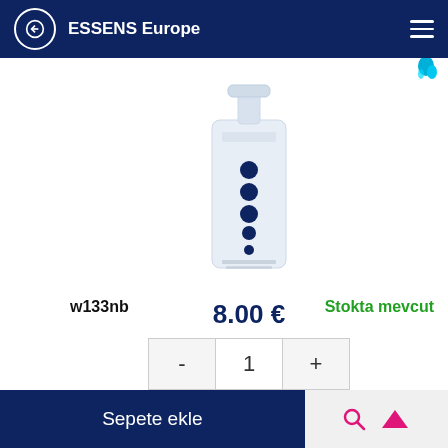ESSENS Europe
[Figure (photo): White pump bottle skincare product with dark blue circular dots pattern on label, ESSENS brand]
8.00 €
- 1 +
w133nb
Stokta mevcut
Sepete ekle